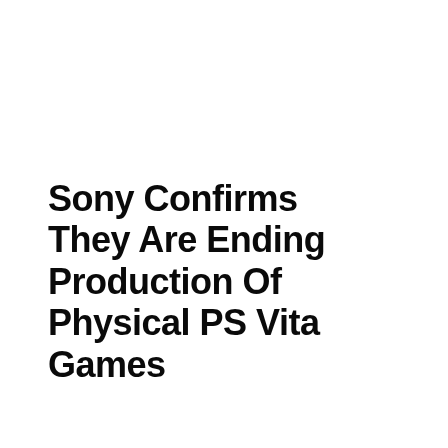Sony Confirms They Are Ending Production Of Physical PS Vita Games